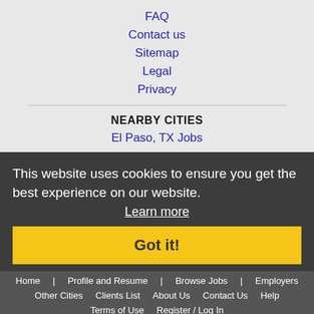FAQ
Contact us
Sitemap
Legal
Privacy
NEARBY CITIES
El Paso, TX Jobs
This website uses cookies to ensure you get the best experience on our website.
Learn more
Got it!
Home | Profile and Resume | Browse Jobs | Employers
Other Cities   Clients List   About Us   Contact Us   Help
Terms of Use   Register / Log In
Copyright © 2001 - 2022 Recruiter Media Corporation -
Las Cruces Jobs